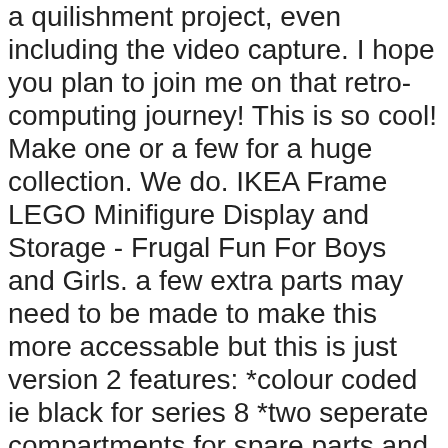a quilishment project, even including the video capture. I hope you plan to join me on that retro-computing journey! This is so cool! Make one or a few for a huge collection. We do. IKEA Frame LEGO Minifigure Display and Storage - Frugal Fun For Boys and Girls. a few extra parts may need to be made to make this more accessable but this is just version 2 features: *colour coded ie black for series 8 *two seperate compartments for spare parts and double ups. Article from frugalfun4boys.com. In this two part series, we try to compile and share some popular IKEA products used by LEGO fans the world to showcase and organise their collection. Well here is the product you are looking for! So here are my step-by-step instructions to making your own Lego Minifigure Display Frames – all handily illustrated with photos! So earlier this week, my buddy Sharil hooked me up with this Ikea Hackers link on how to make your own Lego Minifig Display using cost-effective components.. IKEA Frame LEGO Minifigure Display and Storage - Frugal Fun For Boys and Girls. My son and I